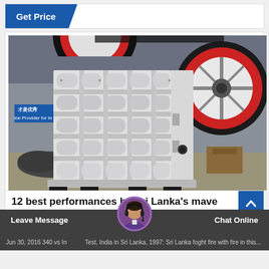[Figure (other): Get Price button banner — blue chevron button on white background]
[Figure (photo): Industrial jaw crusher machine with large red-and-black flywheel, white heavy-duty frame with rectangular grid openings, photographed in a factory/warehouse setting with a blue Chinese sign visible in background.]
12 best performances by Sri Lanka's mave
Jun 30, 2016 340 vs India Test, India in Sri Lanka, 1997: Sri Lanka fought fire with fire in this...